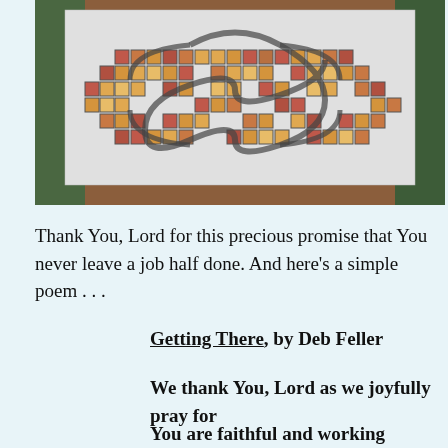[Figure (photo): A mosaic artwork on a white tile board with a Celtic knot or interlocking loop pattern made of small colored tiles in red, orange, yellow, and tan, with dark gray grout lines, placed on a wooden surface with a green towel in the background.]
Thank You, Lord for this precious promise that You never leave a job half done.  And here’s a simple poem . . .
Getting There, by Deb Feller
We thank You, Lord as we joyfully pray for
You are faithful and working always in